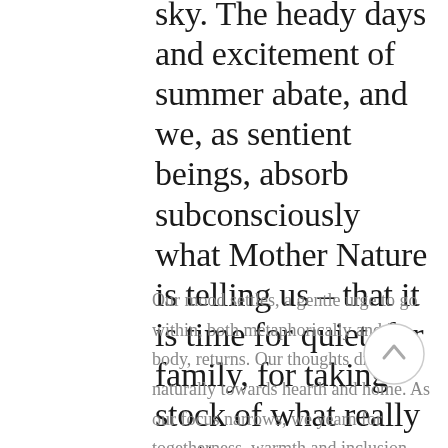sky. The heady days and excitement of summer abate, and we, as sentient beings, absorb subconsciously what Mother Nature is telling us – that it is time for quiet, for family, for taking stock of what really matters.
Our mood settles, a gentle urge to go within, both metaphorically and in body, returns. Our thoughts drift naturally towards hearth and home. As our focus narrows, we yearn for togetherness, warmth and inclusion. The season changes, and we change with it, as is the natural order.
This Autumn we rejoice in the comfort of family, legacy, tradition and the joy of
[Figure (other): A circular back-to-top scroll button with an upward arrow icon, light grey border and white background]